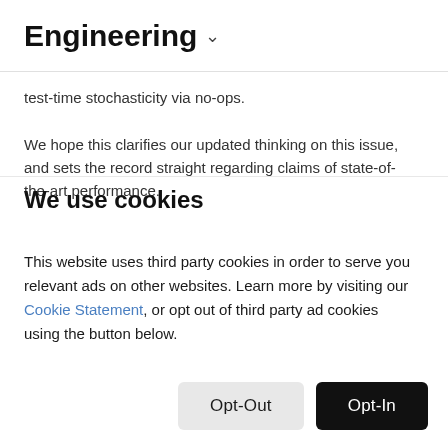Engineering ˅
test-time stochasticity via no-ops.
We hope this clarifies our updated thinking on this issue, and sets the record straight regarding claims of state-of-the-art performance.
We use cookies
This website uses third party cookies in order to serve you relevant ads on other websites. Learn more by visiting our Cookie Statement, or opt out of third party ad cookies using the button below.
Opt-Out
Opt-In